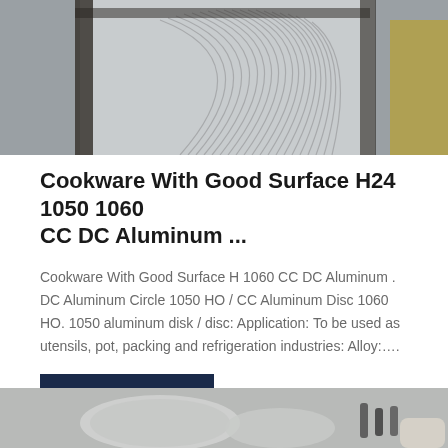[Figure (photo): Stacked aluminum discs/circles in a rack in an industrial setting]
Cookware With Good Surface H24 1050 1060 CC DC Aluminum ...
Cookware With Good Surface H 1060 CC DC Aluminum . DC Aluminum Circle 1050 HO / CC Aluminum Disc 1060 HO. 1050 aluminum disk / disc: Application: To be used as utensils, pot, packing and refrigeration industries: Alloy:….
GET QUOTE
[Figure (photo): Aluminum discs and tools on a surface, bottom partial image]